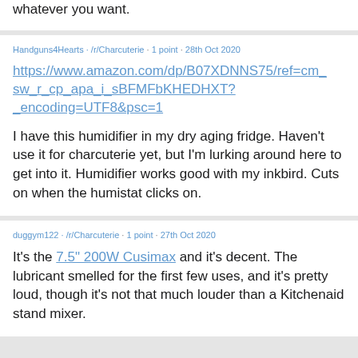whatever you want.
Handguns4Hearts · /r/Charcuterie  1 point · 28th Oct 2020
https://www.amazon.com/dp/B07XDNNS75/ref=cm_sw_r_cp_apa_i_sBFMFbKHEDHXT?_encoding=UTF8&psc=1
I have this humidifier in my dry aging fridge. Haven't use it for charcuterie yet, but I'm lurking around here to get into it. Humidifier works good with my inkbird. Cuts on when the humistat clicks on.
duggym122 · /r/Charcuterie  1 point · 27th Oct 2020
It's the 7.5" 200W Cusimax and it's decent. The lubricant smelled for the first few uses, and it's pretty loud, though it's not that much louder than a Kitchenaid stand mixer.